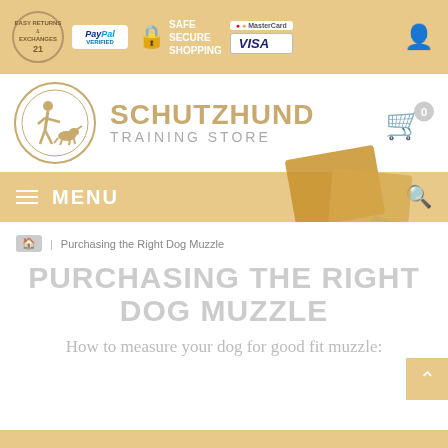SAFE SECURE SHOPPING | PayPal VERIFIED | MasterCard | VISA | Easy Returns & Exchanges
[Figure (logo): Schutzhund Training Store logo with circle icon of man and dog silhouette, text SCHUTZHUND TRAINING STORE]
MENU
Purchasing the Right Dog Muzzle
PURCHASING THE RIGHT DOG MUZZLE
How to measure your dog for good fit muzzle: